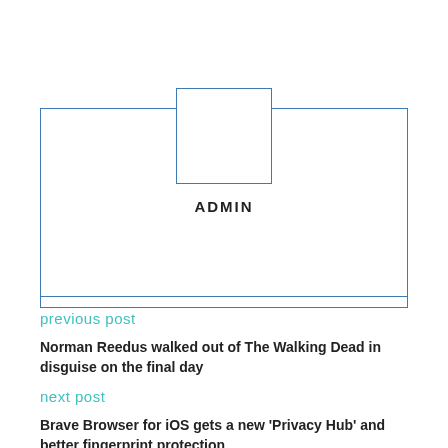[Figure (other): Admin profile card with a blue-bordered rectangle as avatar placeholder and the text ADMIN below it, all within a blue-bordered container box]
previous post
Norman Reedus walked out of The Walking Dead in disguise on the final day
next post
Brave Browser for iOS gets a new 'Privacy Hub' and better fingerprint protection